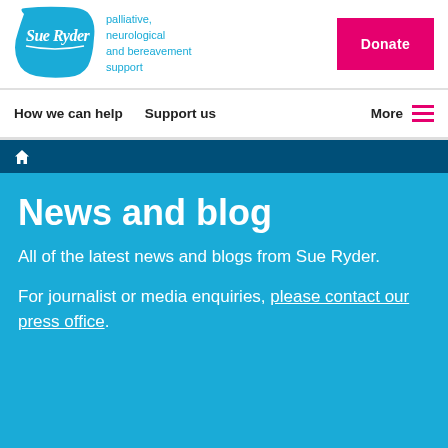[Figure (logo): Sue Ryder logo - white script text on blue blob shape, with tagline 'palliative, neurological and bereavement support' in blue text]
Donate
How we can help   Support us   More
Home (breadcrumb icon)
News and blog
All of the latest news and blogs from Sue Ryder.
For journalist or media enquiries, please contact our press office.